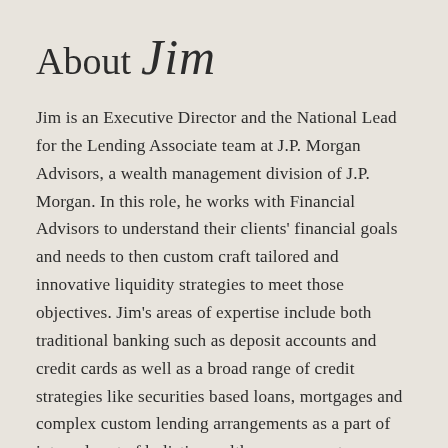About Jim
Jim is an Executive Director and the National Lead for the Lending Associate team at J.P. Morgan Advisors, a wealth management division of J.P. Morgan. In this role, he works with Financial Advisors to understand their clients' financial goals and needs to then custom craft tailored and innovative liquidity strategies to meet those objectives. Jim's areas of expertise include both traditional banking such as deposit accounts and credit cards as well as a broad range of credit strategies like securities based loans, mortgages and complex custom lending arrangements as a part of integral part of holistic wealth management.
Whether discussing traditional banking accounts,